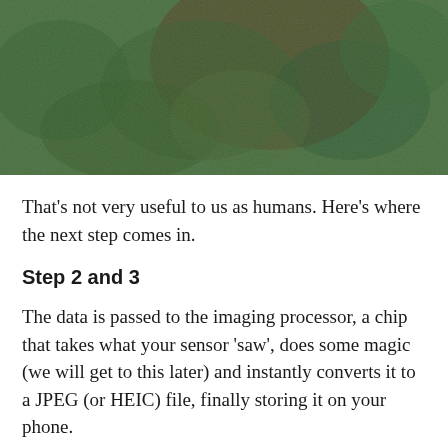[Figure (photo): A greenish-tinted photograph of what appears to be a bird or animal, heavily filtered with a green hue, showing textured feathers or fur against a natural background.]
That's not very useful to us as humans. Here's where the next step comes in.
Step 2 and 3
The data is passed to the imaging processor, a chip that takes what your sensor ‘saw’, does some magic (we will get to this later) and instantly converts it to a JPEG (or HEIC) file, finally storing it on your phone.